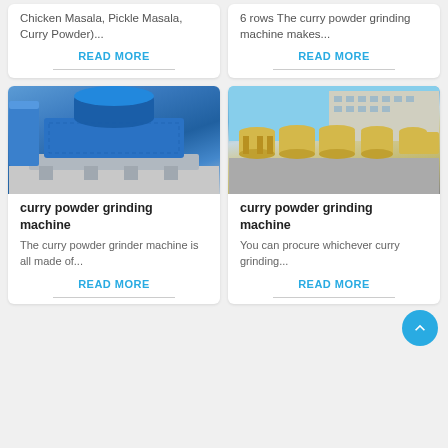Chicken Masala, Pickle Masala, Curry Powder)...
READ MORE
6 rows The curry powder grinding machine makes...
READ MORE
[Figure (photo): Blue industrial curry powder grinding machine in a factory setting]
curry powder grinding machine
The curry powder grinder machine is all made of...
READ MORE
[Figure (photo): Several yellow industrial grinding machines lined up outdoors in front of a building]
curry powder grinding machine
You can procure whichever curry grinding...
READ MORE